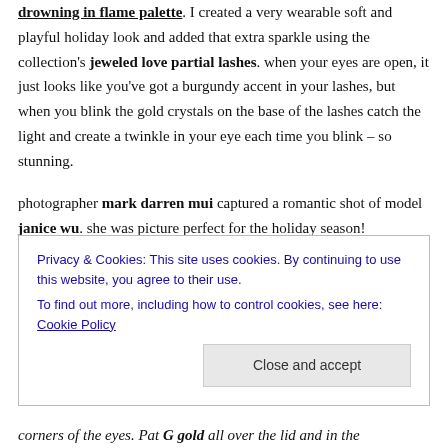drowning in flame palette. I created a very wearable soft and playful holiday look and added that extra sparkle using the collection's jeweled love partial lashes. when your eyes are open, it just looks like you've got a burgundy accent in your lashes, but when you blink the gold crystals on the base of the lashes catch the light and create a twinkle in your eye each time you blink – so stunning.
photographer mark darren mui captured a romantic shot of model janice wu. she was picture perfect for the holiday season!
Privacy & Cookies: This site uses cookies. By continuing to use this website, you agree to their use. To find out more, including how to control cookies, see here: Cookie Policy
corners of the eyes. Pat G gold all over the lid and in the